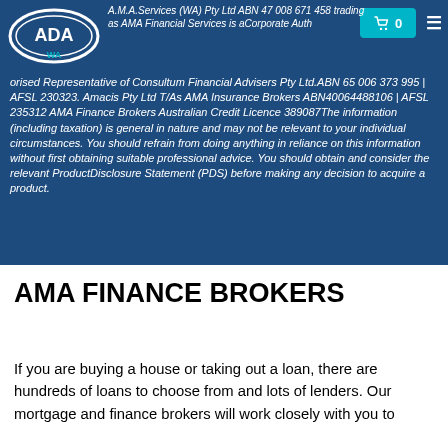A.M.A.Services (WA) Pty Ltd ABN 47 008 671 458 trading as AMA Financial Services is aCorporate Authorised Representative of Consultum Financial Advisers Pty Ltd.ABN 65 006 373 995 | AFSL 230323. Amacis Pty Ltd T/As AMA Insurance Brokers ABN40064488106 | AFSL 235312 AMA Finance Brokers Australian Credit Licence 389087The information (including taxation) is general in nature and may not be relevant to your individual circumstances. You should refrain from doing anything in reliance on this information without first obtaining suitable professional advice. You should obtain and consider the relevant ProductDisclosure Statement (PDS) before making any decision to acquire a product.
AMA FINANCE BROKERS
If you are buying a house or taking out a loan, there are hundreds of loans to choose from and lots of lenders. Our mortgage and finance brokers will work closely with you to